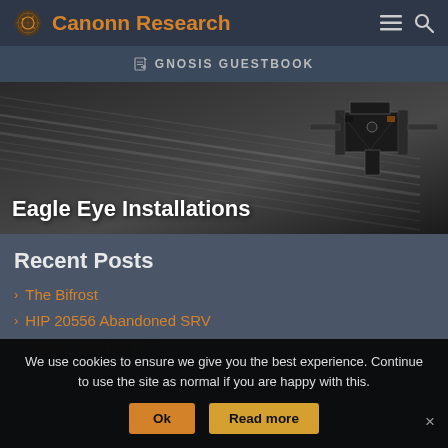Canonn Research
GNOSIS GUESTBOOK
[Figure (photo): Hero image showing space scene with planetary rings and a spacecraft/satellite structure, with overlay title 'Eagle Eye Installations']
Eagle Eye Installations
Recent Posts
The Bifrost
HIP 20556 Abandoned SRV
Galaxy Site DMJ 07
We use cookies to ensure we give you the best experience. Continue to use the site as normal if you are happy with this.